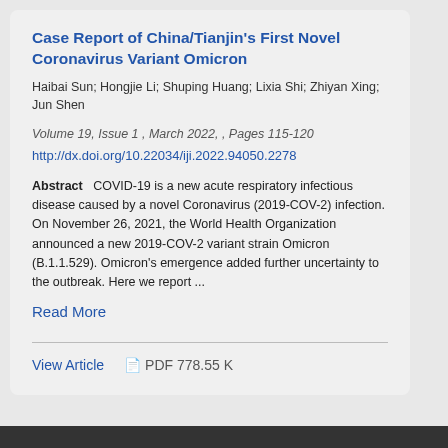Case Report of China/Tianjin's First Novel Coronavirus Variant Omicron
Haibai Sun; Hongjie Li; Shuping Huang; Lixia Shi; Zhiyan Xing; Jun Shen
Volume 19, Issue 1 , March 2022, , Pages 115-120
http://dx.doi.org/10.22034/iji.2022.94050.2278
Abstract   COVID-19 is a new acute respiratory infectious disease caused by a novel Coronavirus (2019-COV-2) infection. On November 26, 2021, the World Health Organization announced a new 2019-COV-2 variant strain Omicron (B.1.1.529). Omicron's emergence added further uncertainty to the outbreak. Here we report ...
Read More
View Article    PDF 778.55 K